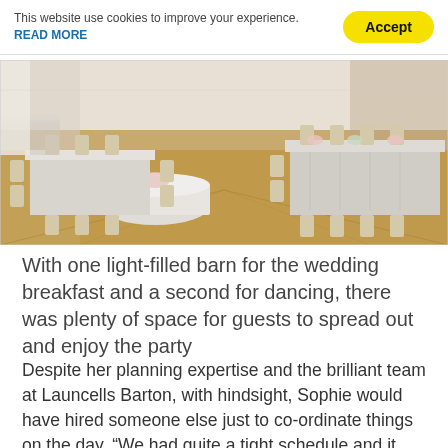This website use cookies to improve your experience. READ MORE [Accept button]
[Figure (photo): Wedding breakfast barn with long banquet tables covered in grey/white linens, chiavari chairs, floral centerpieces, wooden floor, bright airy space.]
With one light-filled barn for the wedding breakfast and a second for dancing, there was plenty of space for guests to spread out and enjoy the party
Despite her planning expertise and the brilliant team at Launcells Barton, with hindsight, Sophie would have hired someone else just to co-ordinate things on the day. “We had quite a tight schedule and it really helps to have someone there who can oversee everything.” She also